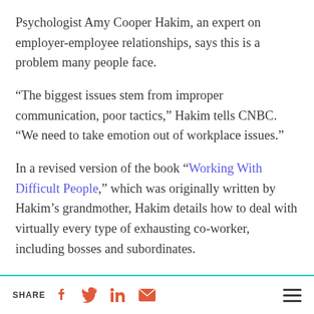Psychologist Amy Cooper Hakim, an expert on employer-employee relationships, says this is a problem many people face.
“The biggest issues stem from improper communication, poor tactics,” Hakim tells CNBC. “We need to take emotion out of workplace issues.”
In a revised version of the book “Working With Difficult People,” which was originally written by Hakim’s grandmother, Hakim details how to deal with virtually every type of exhausting co-worker, including bosses and subordinates.
SHARE [Facebook] [Twitter] [LinkedIn] [Email] [Menu]